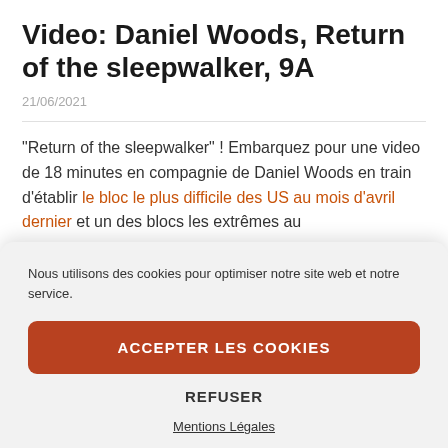Video: Daniel Woods, Return of the sleepwalker, 9A
21/06/2021
“Return of the sleepwalker” ! Embarquez pour une video de 18 minutes en compagnie de Daniel Woods en train d’établir le bloc le plus difficile des US au mois d’avril dernier et un des blocs les extrêmes au
Nous utilisons des cookies pour optimiser notre site web et notre service.
ACCEPTER LES COOKIES
REFUSER
Mentions Légales